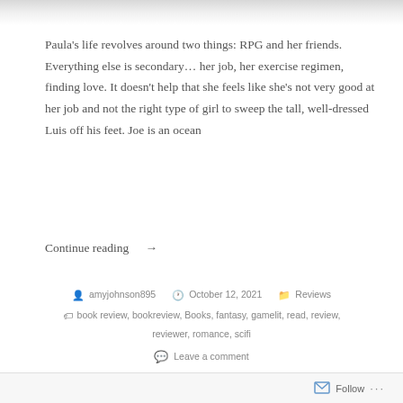Paula's life revolves around two things: RPG and her friends. Everything else is secondary… her job, her exercise regimen, finding love. It doesn't help that she feels like she's not very good at her job and not the right type of girl to sweep the tall, well-dressed Luis off his feet. Joe is an ocean
Continue reading →
amyjohnson895   October 12, 2021   Reviews   book review, bookreview, Books, fantasy, gamelit, read, review, reviewer, romance, scifi   Leave a comment
Follow ···